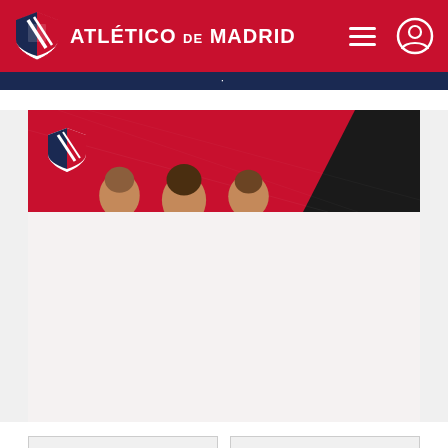Atlético de Madrid
[Figure (photo): Atlético de Madrid website screenshot showing club logo, navigation bar with hamburger menu and user icon, a hero image with red background showing players with the club crest, and two buttons at the bottom labeled 'Online store' and 'Cívitas Metropolitano']
Online store
Cívitas Metropolitano